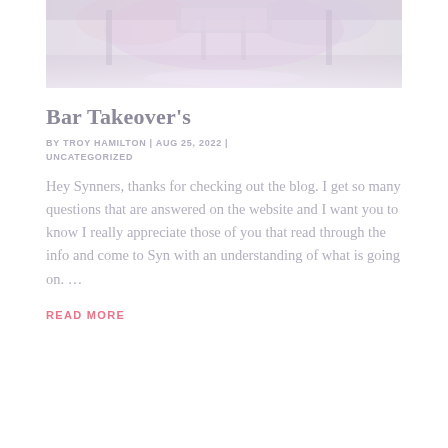[Figure (photo): Interior bar/nightclub scene with purple/pink ambient lighting, stage area visible, faded/washed out appearance]
Bar Takeover's
BY TROY HAMILTON | AUG 25, 2022 | UNCATEGORIZED
Hey Synners, thanks for checking out the blog. I get so many questions that are answered on the website and I want you to know I really appreciate those of you that read through the info and come to Syn with an understanding of what is going on. …
READ MORE